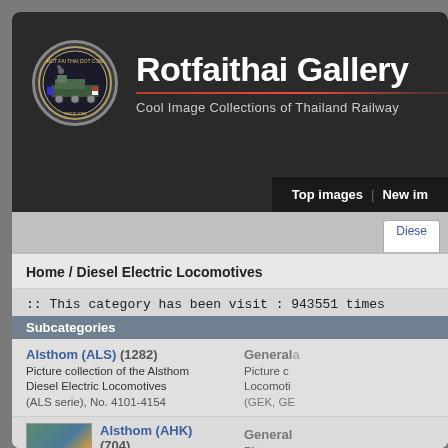Rotfaithai Gallery
Cool Image Collections of Thailand Railway
Top images | New im
Diesel
Home / Diesel Electric Locomotives
:: This category has been visit : 943551 times
Subcategories
Alsthom (ALS) (1282)
Picture collection of the Alsthom Diesel Electric Locomotives
(ALS serie), No. 4101-4154
General... 
Picture c...
Locomoti...
(GEK, GE...
Alsthom (AHK) (704)
Picture collection of the Alsthom Diesel Electric Locomotives
General...
Picture c...
Locomoti...